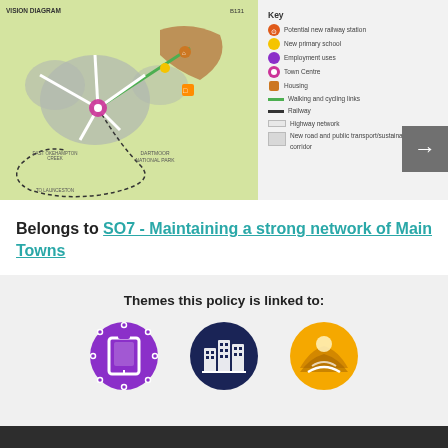[Figure (map): Vision diagram map showing town centre, housing, employment areas, walking/cycling links, railway, and road network for a local area plan. Label 'VISION DIAGRAM' at top left, reference 'B131' at top right.]
Key
Potential new railway station
New primary school
Employment uses
Town Centre
Housing
Walking and cycling links
Railway
Highway network
New road and public transport/sustainable transport corridor
Belongs to SO7 - Maintaining a strong network of Main Towns
Themes this policy is linked to:
[Figure (illustration): Three circular icons representing policy themes: purple icon with tablet/frame shape, dark navy icon with building/city shape, and orange/yellow icon with landscape/hill shape.]